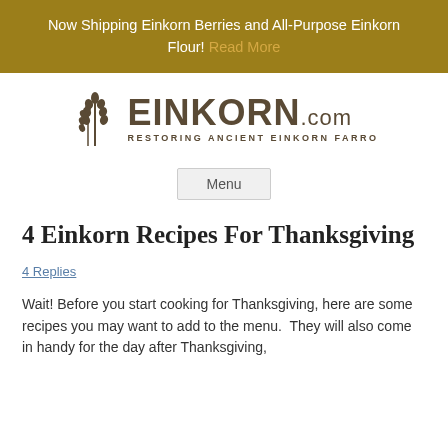Now Shipping Einkorn Berries and All-Purpose Einkorn Flour! Read More
[Figure (logo): EINKORN.com logo with wheat stalk icon and tagline RESTORING ANCIENT EINKORN FARRO]
Menu
4 Einkorn Recipes For Thanksgiving
4 Replies
Wait! Before you start cooking for Thanksgiving, here are some recipes you may want to add to the menu.  They will also come in handy for the day after Thanksgiving,